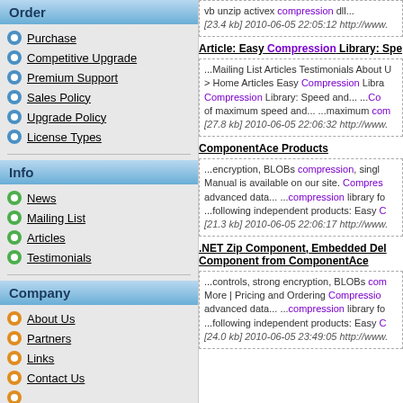Order
Purchase
Competitive Upgrade
Premium Support
Sales Policy
Upgrade Policy
License Types
Info
News
Mailing List
Articles
Testimonials
Company
About Us
Partners
Links
Contact Us
vb unzip activex compression dll...
[23.4 kb] 2010-06-05 22:05:12 http://www.
Article: Easy Compression Library: Spe...
...Mailing List Articles Testimonials About U > Home Articles Easy Compression Library: Compression Library: Speed and... ...Co of maximum speed and... ...maximum com
[27.8 kb] 2010-06-05 22:06:32 http://www.
ComponentAce Products
...encryption, BLOBs compression, singl Manual is available on our site. Compres advanced data... ...compression library f ...following independent products: Easy C
[21.3 kb] 2010-06-05 22:06:17 http://www.
.NET Zip Component, Embedded Del Component from ComponentAce
...controls, strong encryption, BLOBs com More | Pricing and Ordering Compressio advanced data... ...compression library f ...following independent products: Easy C
[24.0 kb] 2010-06-05 23:49:05 http://www.